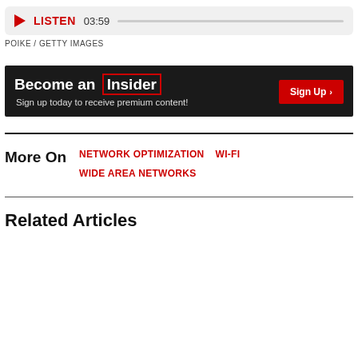[Figure (other): Audio player bar showing play button, LISTEN label, duration 03:59, and progress bar]
POIKE / GETTY IMAGES
[Figure (infographic): Become an Insider banner with Sign Up button. Text: Become an Insider, Sign up today to receive premium content!]
More On  NETWORK OPTIMIZATION  WI-FI  WIDE AREA NETWORKS
Related Articles